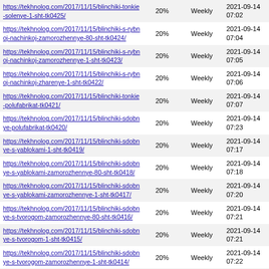| URL | Priority | Frequency | Last Modified |
| --- | --- | --- | --- |
| https://tekhnolog.com/2017/11/15/blinchiki-tonkie-solenye-1-sht-tk0425/ | 20% | Weekly | 2021-09-14 07:02 |
| https://tekhnolog.com/2017/11/15/blinchiki-s-rybnoj-nachinkoj-zamorozhennye-80-sht-tk0424/ | 20% | Weekly | 2021-09-14 07:04 |
| https://tekhnolog.com/2017/11/15/blinchiki-s-rybnoj-nachinkoj-zamorozhennye-1-sht-tk0423/ | 20% | Weekly | 2021-09-14 07:05 |
| https://tekhnolog.com/2017/11/15/blinchiki-s-rybnoj-nachinkoj-zharenye-1-sht-tk0422/ | 20% | Weekly | 2021-09-14 07:06 |
| https://tekhnolog.com/2017/11/15/blinchiki-tonkie-polufabrikat-tk0421/ | 20% | Weekly | 2021-09-14 07:07 |
| https://tekhnolog.com/2017/11/15/blinchiki-sdobnye-polufabrikat-tk0420/ | 20% | Weekly | 2021-09-14 07:23 |
| https://tekhnolog.com/2017/11/15/blinchiki-sdobnye-s-yablokami-1-sht-tk0419/ | 20% | Weekly | 2021-09-14 07:17 |
| https://tekhnolog.com/2017/11/15/blinchiki-sdobnye-s-yablokami-zamorozhennye-80-sht-tk0418/ | 20% | Weekly | 2021-09-14 07:18 |
| https://tekhnolog.com/2017/11/15/blinchiki-sdobnye-s-yablokami-zamorozhennye-1-sht-tk0417/ | 20% | Weekly | 2021-09-14 07:20 |
| https://tekhnolog.com/2017/11/15/blinchiki-sdobnye-s-tvorogom-zamorozhennye-80-sht-tk0416/ | 20% | Weekly | 2021-09-14 07:21 |
| https://tekhnolog.com/2017/11/15/blinchiki-sdobnye-s-tvorogom-1-sht-tk0415/ | 20% | Weekly | 2021-09-14 07:21 |
| https://tekhnolog.com/2017/11/15/blinchiki-sdobnye-s-tvorogom-zamorozhennye-1-sht-tk0414/ | 20% | Weekly | 2021-09-14 07:22 |
| https://tekhnolog.com/2017/11/15/blinchiki-sdobnye-s-makom-zharenye-1-sht-tk0413/ | 20% | Weekly | 2021-09-14 07:10 |
| https://tekhnolog.com/2017/11/15/blinchiki-sdobnye-s-makom-zamorozhennye-80-sht-tk0412/ | 20% | Weekly | 2021-09-14 07:11 |